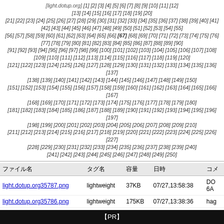[light.dotup.org] [1] [2] [3] [4] [5] [6] [7] [8] [9] [10] [11] [12] [13] [14] [15] [16] [17] [18] [19] [20] [21] [22] [23] [24] [25] [26] [27] [28] [29] [30] [31] [32] [33] [34] [35] [36] [37] [38] [39] [40] [41] [42] [43] [44] [45] [46] [47] [48] [49] [50] [51] [52] [53] [54] [55] [56] [57] [58] [59] [60] [61] [62] [63] [64] [65] [66] [67] [68] [69] [70] [71] [72] [73] [74] [75] [76] [77] [78] [79] [80] [81] [82] [83] [84] [85] [86] [87] [88] [89] [90] [91] [92] [93] [94] [95] [96] [97] [98] [99] [100] [101] [102] [103] [104] [105] [106] [107] [108] [109] [110] [111] [112] [113] [114] [115] [116] [117] [118] [119] [120] [121] [122] [123] [124] [125] [126] [127] [128] [129] [130] [131] [132] [133] [134] [135] [136] [137] [138] [139] [140] [141] [142] [143] [144] [145] [146] [147] [148] [149] [150] [151] [152] [153] [154] [155] [156] [157] [158] [159] [160] [161] [162] [163] [164] [165] [166] [167] [168] [169] [170] [171] [172] [173] [174] [175] [176] [177] [178] [179] [180] [181] [182] [183] [184] [185] [186] [187] [188] [189] [190] [191] [192] [193] [194] [195] [196] [197] [198] [199] [200] [201] [202] [203] [204] [205] [206] [207] [208] [209] [210] [211] [212] [213] [214] [215] [216] [217] [218] [219] [220] [221] [222] [223] [224] [225] [226] [227] [228] [229] [230] [231] [232] [233] [234] [235] [236] [237] [238] [239] [240] [241] [242] [243] [244] [245] [246] [247] [248] [249] [250]
| ファイル名 | タグ名 | 容量 | 日時 | コメント |
| --- | --- | --- | --- | --- |
| light.dotup.org35787.png | lightweight | 37KB | 07/27,13:58:38 | DO 6A |
| light.dotup.org35786.png | lightweight | 175KB | 07/27,13:38:36 | hag |
| light.dotup.org35785.png | lightweight | 2.3MB | 07/27,12:50:09 | Scr |
| light.dotup.org35784.png | lightweight | 29KB | 07/27,11:07:15 | F6. 705 |
| light.dotup.org35783.jpg | lightweight | 147KB | 07/27,02:11:31 | mo |
| light.dotup.org35782.png | lightweight | 138KB | 07/27,00:11:01 | 775 |
【PR】